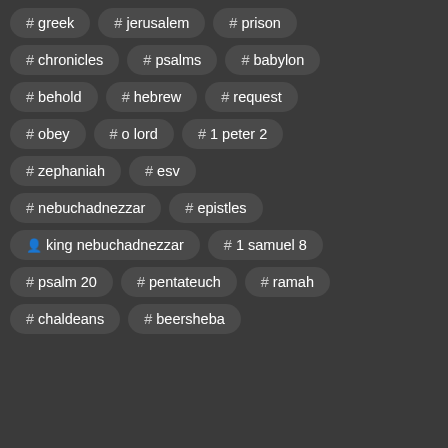# greek
# jerusalem
# prison
# chronicles
# psalms
# babylon
# behold
# hebrew
# request
# obey
# o lord
# 1 peter 2
# zephaniah
# esv
# nebuchadnezzar
# epistles
👤 king nebuchadnezzar
# 1 samuel 8
# psalm 20
# pentateuch
# ramah
# chaldeans
# beersheba